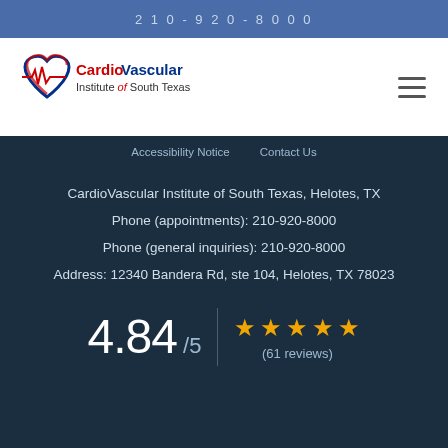210-920-8000
[Figure (logo): CardioVascular Institute of South Texas logo with heart and ECG graphic in red and blue]
Accessibility Notice   Contact Us
CardioVascular Institute of South Texas, Helotes, TX
Phone (appointments): 210-920-8000
Phone (general inquiries): 210-920-8000
Address: 12340 Bandera Rd, ste 104, Helotes, TX 78023
4.84 / 5  ★★★★★  (61 reviews)